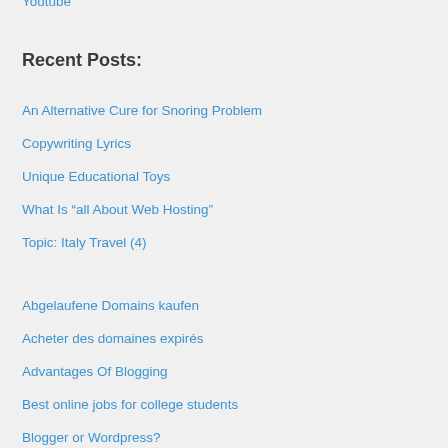Youtube
Recent Posts:
An Alternative Cure for Snoring Problem
Copywriting Lyrics
Unique Educational Toys
What Is “all About Web Hosting”
Topic: Italy Travel (4)
Abgelaufene Domains kaufen
Acheter des domaines expirés
Advantages Of Blogging
Best online jobs for college students
Blogger or Wordpress?